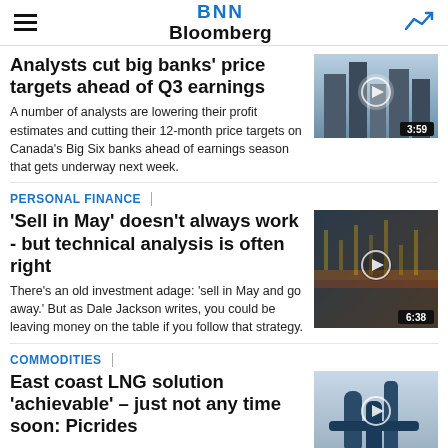BNN Bloomberg
Analysts cut big banks' price targets ahead of Q3 earnings
[Figure (photo): Upward view of skyscraper buildings against sky with video duration badge 3:59]
A number of analysts are lowering their profit estimates and cutting their 12-month price targets on Canada's Big Six banks ahead of earnings season that gets underway next week.
PERSONAL FINANCE
'Sell in May' doesn't always work - but technical analysis is often right
[Figure (photo): Stock market trading floor reflection with video duration badge 6:38]
There's an old investment adage: 'sell in May and go away.' But as Dale Jackson writes, you could be leaving money on the table if you follow that strategy.
COMMODITIES
East coast LNG solution 'achievable' – just not any time soon: Picrides
[Figure (photo): LNG pipeline or industrial equipment photo with play button]